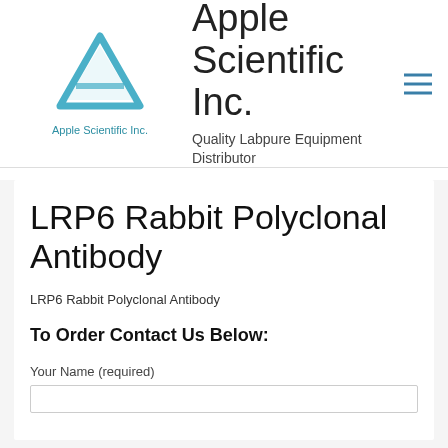[Figure (logo): Apple Scientific Inc. logo: blue triangle/A shape with company name below in teal blue]
Apple Scientific Inc.
Quality Labpure Equipment Distributor
LRP6 Rabbit Polyclonal Antibody
LRP6 Rabbit Polyclonal Antibody
To Order Contact Us Below:
Your Name (required)